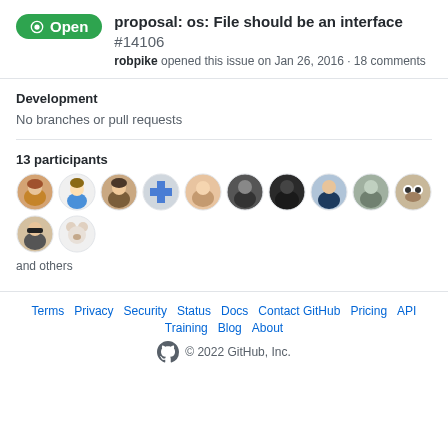proposal: os: File should be an interface #14106
robpike opened this issue on Jan 26, 2016 · 18 comments
Development
No branches or pull requests
13 participants
[Figure (illustration): Row of 12 circular avatar profile pictures of GitHub users]
and others
Terms · Privacy · Security · Status · Docs · Contact GitHub · Pricing · API · Training · Blog · About · © 2022 GitHub, Inc.